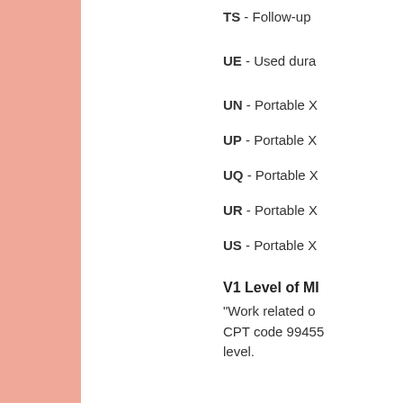TS - Follow-up
UE - Used dura
UN - Portable X
UP - Portable X
UQ - Portable X
UR - Portable X
US - Portable X
V1 Level of MI
"Work related o
CPT code 99455
level.